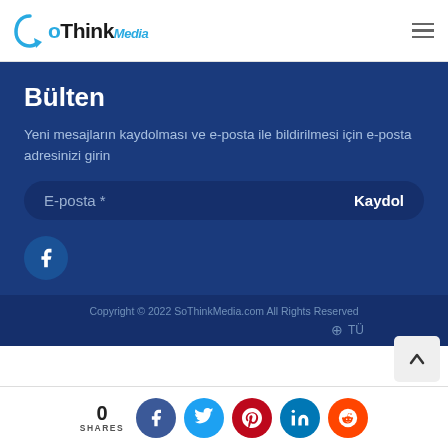[Figure (logo): SoThinkMedia logo with curved arrow and stylized text]
Bülten
Yeni mesajların kaydolması ve e-posta ile bildirilmesi için e-posta adresinizi girin
E-posta * Kaydol
[Figure (infographic): Facebook social media icon circle button]
Copyright © 2022 SoThinkMedia.com All Rights Reserved
TÜ...
0 SHARES